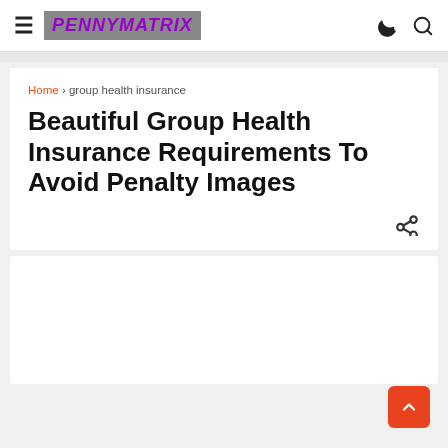≡ PENNYMATRIX
Home › group health insurance
Beautiful Group Health Insurance Requirements To Avoid Penalty Images